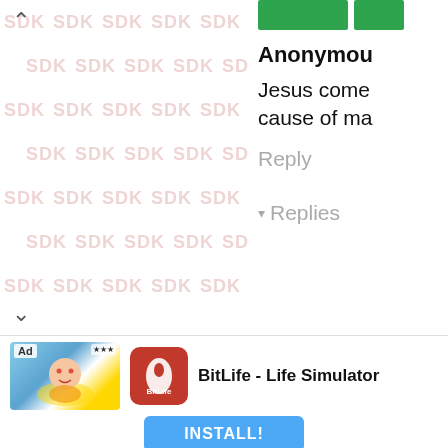[Figure (screenshot): Left panel with watermark pattern repeating 'SDK' text in pink/light red on white background, with up and down chevron arrows on the left side]
Anonymous
Jesus come cause of ma
Reply
Replies
[Figure (screenshot): Ad banner for BitLife - Life Simulator app with INSTALL! button]